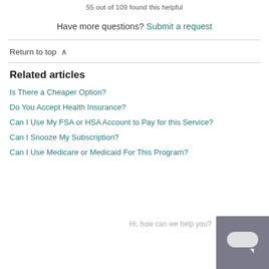55 out of 109 found this helpful
Have more questions? Submit a request
Return to top ∧
Related articles
Is There a Cheaper Option?
Do You Accept Health Insurance?
Can I Use My FSA or HSA Account to Pay for this Service?
Can I Snooze My Subscription?
Can I Use Medicare or Medicaid For This Program?